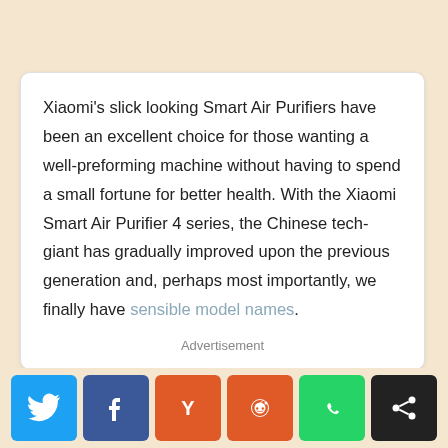Xiaomi's slick looking Smart Air Purifiers have been an excellent choice for those wanting a well-preforming machine without having to spend a small fortune for better health. With the Xiaomi Smart Air Purifier 4 series, the Chinese tech-giant has gradually improved upon the previous generation and, perhaps most importantly, we finally have sensible model names.
Advertisement
[Figure (infographic): Social share bar with six icons: Twitter (blue), Facebook (dark blue), Y Combinator (orange), Reddit (orange), WhatsApp (green), Share (black)]